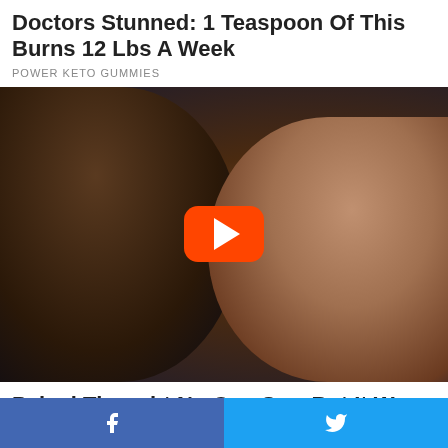Doctors Stunned: 1 Teaspoon Of This Burns 12 Lbs A Week
POWER KETO GUMMIES
[Figure (photo): Photo of two people, one leaning toward the other, with a YouTube-style red play button overlay in the center]
Pelosi Thought No One Saw But It Was Caught On Camera
INSTANTHUB
[Figure (photo): Partial photo visible at bottom, dark reddish tones]
Facebook share button | Twitter share button